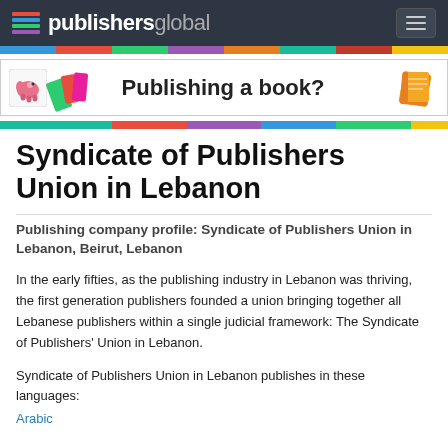publishersglobal
[Figure (screenshot): PublishersGlobal website header with logo and navigation menu button]
[Figure (infographic): Advertisement banner: Publishing a book? with book icon and colorful decorative elements]
Syndicate of Publishers Union in Lebanon
Publishing company profile: Syndicate of Publishers Union in Lebanon, Beirut, Lebanon
In the early fifties, as the publishing industry in Lebanon was thriving, the first generation publishers founded a union bringing together all Lebanese publishers within a single judicial framework: The Syndicate of Publishers' Union in Lebanon.
Syndicate of Publishers Union in Lebanon publishes in these languages:
Arabic